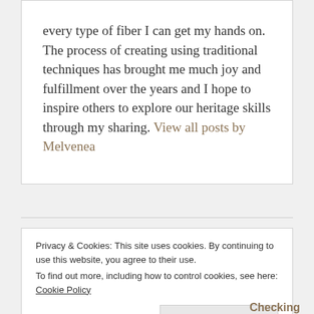every type of fiber I can get my hands on. The process of creating using traditional techniques has brought me much joy and fulfillment over the years and I hope to inspire others to explore our heritage skills through my sharing. View all posts by Melvenea
Privacy & Cookies: This site uses cookies. By continuing to use this website, you agree to their use.
To find out more, including how to control cookies, see here: Cookie Policy
Close and accept
Checking